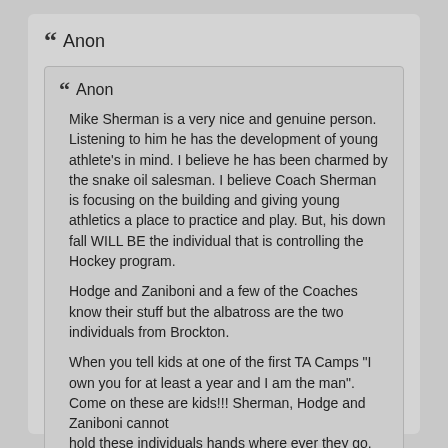❝ Anon
❝ Anon
Mike Sherman is a very nice and genuine person. Listening to him he has the development of young athlete's in mind. I believe he has been charmed by the snake oil salesman. I believe Coach Sherman is focusing on the building and giving young athletics a place to practice and play. But, his down fall WILL BE the individual that is controlling the Hockey program.

Hodge and Zaniboni and a few of the Coaches know their stuff but the albatross are the two individuals from Brockton.

When you tell kids at one of the first TA Camps "I own you for at least a year and I am the man". Come on these are kids!!! Sherman, Hodge and Zaniboni cannot
hold these individuals hands where ever they go. To Montreal or to the